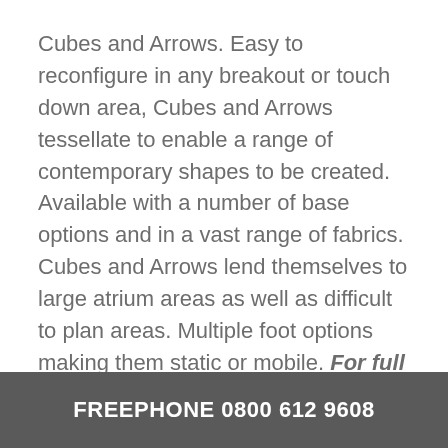Cubes and Arrows. Easy to reconfigure in any breakout or touch down area, Cubes and Arrows tessellate to enable a range of contemporary shapes to be created.   Available with a number of base options and in a vast range of fabrics. Cubes and Arrows lend themselves to large atrium areas as well as difficult to plan areas. Multiple foot options making them static or mobile. For full details please open the specification sheet.
FREEPHONE 0800 612 9608